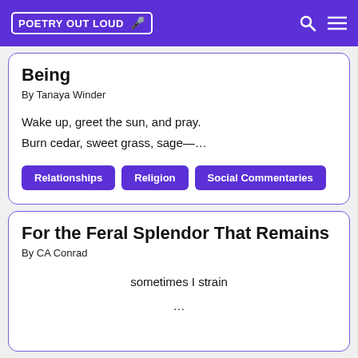POETRY OUT LOUD
Being
By Tanaya Winder
Wake up, greet the sun, and pray.
Burn cedar, sweet grass, sage—…
Relationships
Religion
Social Commentaries
For the Feral Splendor That Remains
By CA Conrad
sometimes I strain
...